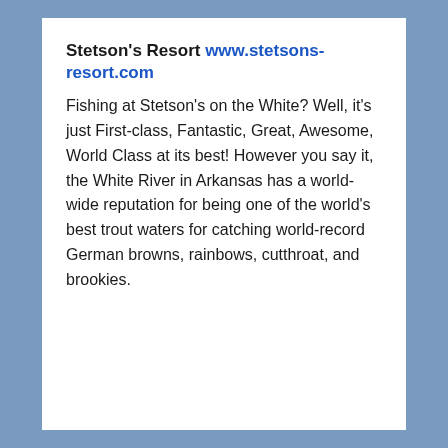Stetson's Resort www.stetsons-resort.com
Fishing at Stetson's on the White? Well, it's just First-class, Fantastic, Great, Awesome, World Class at its best! However you say it, the White River in Arkansas has a world-wide reputation for being one of the world's best trout waters for catching world-record German browns, rainbows, cutthroat, and brookies.